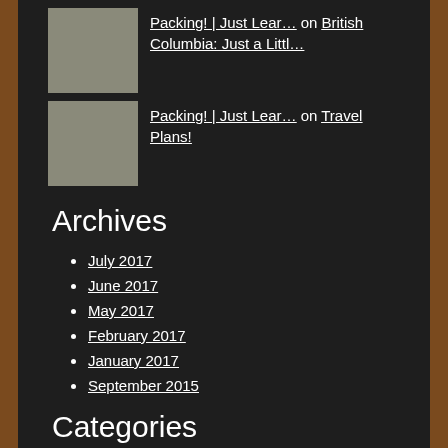[Figure (photo): Avatar photo of a person, linked comment entry reading 'Packing! | Just Lear… on British Columbia: Just a Littl…']
[Figure (photo): Avatar photo of a person, linked comment entry reading 'Packing! | Just Lear… on Travel Plans!']
Archives
July 2017
June 2017
May 2017
February 2017
January 2017
September 2015
Categories
Canadian HIstory
Drafting
Education